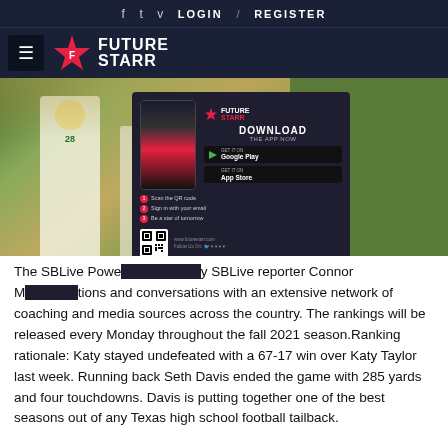f  t  v  LOGIN  /  REGISTER
[Figure (logo): Future Starr logo with hamburger menu icon on dark navy background]
[Figure (photo): Football player in white uniform with number 28, green and gold team colors, on a field with other players; overlaid with Future Starr app download advertisement]
The SBLive Power  y SBLive reporter Connor M  tions and conversations with an extensive network of coaching and media sources across the country. The rankings will be released every Monday throughout the fall 2021 season.Ranking rationale: Katy stayed undefeated with a 67-17 win over Katy Taylor last week. Running back Seth Davis ended the game with 285 yards and four touchdowns. Davis is putting together one of the best seasons out of any Texas high school football tailback.